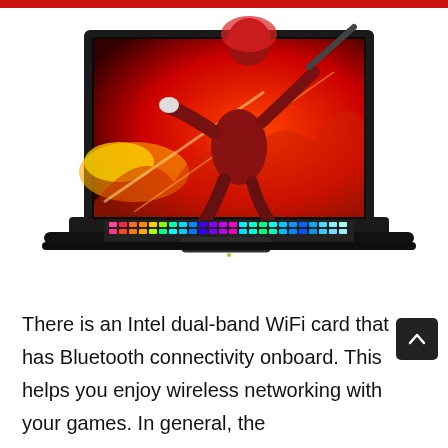[Figure (photo): A gaming laptop with a colorful RGB keyboard and a gaming character (ninja in red outfit wielding a weapon) appearing to burst out of the screen, displayed on a white background.]
There is an Intel dual-band WiFi card that has Bluetooth connectivity onboard. This helps you enjoy wireless networking with your games. In general, the